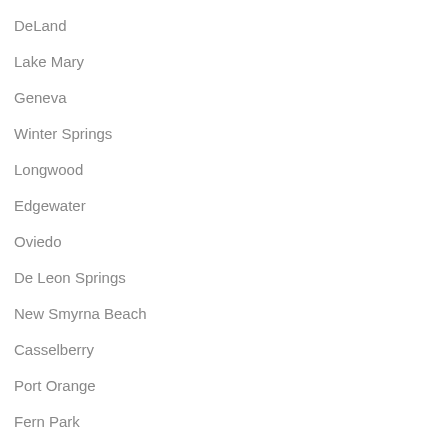DeLand
Lake Mary
Geneva
Winter Springs
Longwood
Edgewater
Oviedo
De Leon Springs
New Smyrna Beach
Casselberry
Port Orange
Fern Park
Chuluota